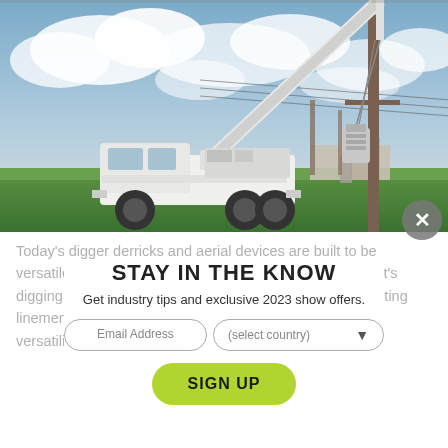[Figure (photo): Utility service truck with extended digger derrick/crane arm lifting a transformer onto a wooden utility pole, shot outdoors against a cloudy sky with green fields and industrial buildings in the background.]
STAY IN THE KNOW
Get industry tips and exclusive 2023 show offers.
Today's digger derricks and aerial devices are built to be versatile pieces of equipment for utility workers, whether it's digging holes, setting poles, turning in screw anchors, putting linemen in the air, or setting transformers. However, that versatility further underscores the